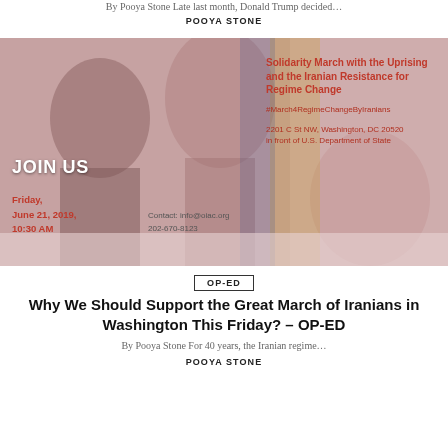By Pooya Stone Late last month, Donald Trump decided...
POOYA STONE
[Figure (photo): Event flyer image: Solidarity March with the Uprising and the Iranian Resistance for Regime Change. Shows protesters with text 'JOIN US', date Friday June 21 2019 10:30 AM, contact info@oiac.org 202-670-8123, address 2201 C St NW Washington DC 20520 in front of U.S. Department of State, hashtag #March4RegimeChangeByIranians]
OP-ED
Why We Should Support the Great March of Iranians in Washington This Friday? – OP-ED
By Pooya Stone For 40 years, the Iranian regime...
POOYA STONE